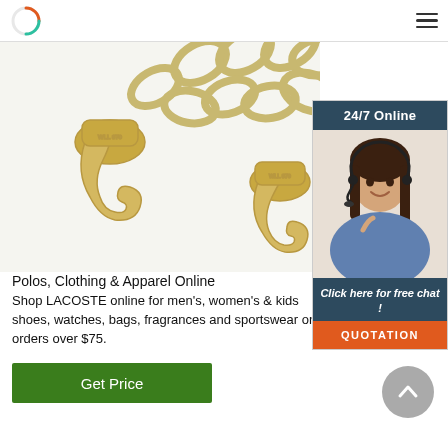Logo and navigation menu
[Figure (photo): Close-up photo of gold/brass metal chain and hooks (binder hooks/grab hooks) on white background]
[Figure (photo): 24/7 Online chat widget with a woman wearing a headset, button: Click here for free chat!, QUOTATION button]
Polos, Clothing & Apparel Online
Shop LACOSTE online for men's, women's & kids shoes, watches, bags, fragrances and sportswear on orders over $75.
Get Price
[Figure (other): Scroll-to-top circular button with upward chevron arrow]